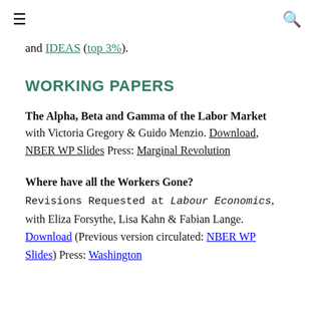≡  [search icon]
and IDEAS (top 3%).
WORKING PAPERS
The Alpha, Beta and Gamma of the Labor Market with Victoria Gregory & Guido Menzio. Download, NBER WP Slides Press: Marginal Revolution
Where have all the Workers Gone? Revisions Requested at Labour Economics, with Eliza Forsythe, Lisa Kahn & Fabian Lange. Download (Previous version circulated: NBER WP Slides) Press: Washington